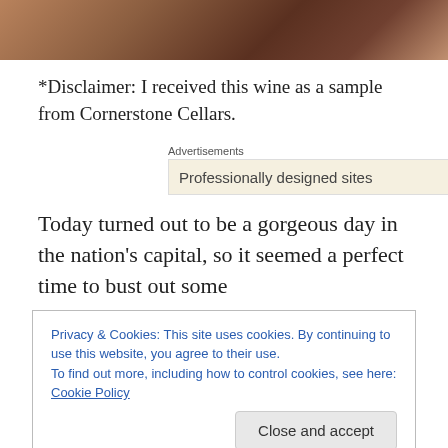[Figure (photo): Top portion of a photo showing glasses/cups on a table with brown/reddish color tones, cropped at top]
*Disclaimer: I received this wine as a sample from Cornerstone Cellars.
[Figure (screenshot): Advertisement box with label 'Advertisements' and text 'Professionally designed sites' with an arrow icon, on a cream/beige background]
Today turned out to be a gorgeous day in the nation's capital, so it seemed a perfect time to bust out some
Privacy & Cookies: This site uses cookies. By continuing to use this website, you agree to their use.
To find out more, including how to control cookies, see here: Cookie Policy
100% Syrah.